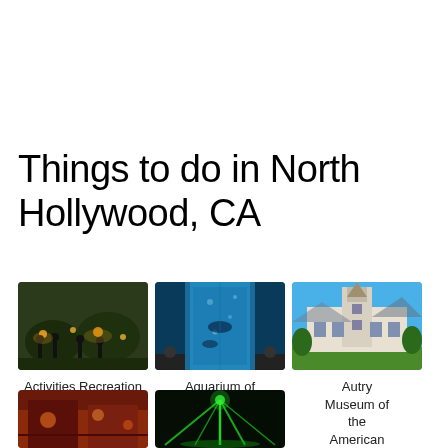Things to do in North Hollywood, CA
[Figure (photo): Nighttime outdoor gathering with people and trees lit by warm lights — Activities Recreation & Care]
[Figure (photo): Aquarium interior showing large blue water tank — Aquarium of the Pacific]
[Figure (photo): Autry Museum of the American West exterior on a sunny day with blue sky and green lawn]
Activities Recreation & Care
Aquarium of the Pacific
Autry Museum of the American West
[Figure (photo): Partially visible image with warm orange/red tones — possibly an indoor venue]
[Figure (photo): Dark image with green laser/light display]
[Figure (other): Warning triangle icon (exclamation mark)]